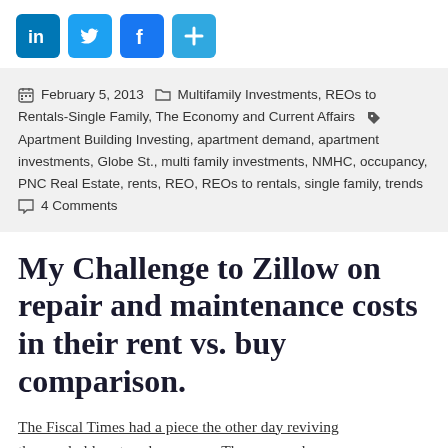[Figure (other): Social sharing icons: LinkedIn, Twitter, Facebook, and a generic share/add button, each in a rounded square icon style]
February 5, 2013  Multifamily Investments, REOs to Rentals-Single Family, The Economy and Current Affairs  Apartment Building Investing, apartment demand, apartment investments, Globe St., multi family investments, NMHC, occupancy, PNC Real Estate, rents, REO, REOs to rentals, single family, trends  4 Comments
My Challenge to Zillow on repair and maintenance costs in their rent vs. buy comparison.
The Fiscal Times had a piece the other day reviving the good old rent vs. buy meme. The new angle was